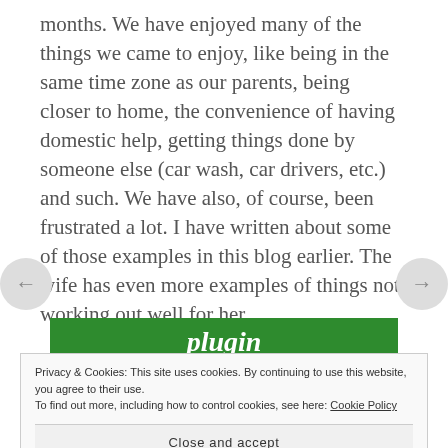months. We have enjoyed many of the things we came to enjoy, like being in the same time zone as our parents, being closer to home, the convenience of having domestic help, getting things done by someone else (car wash, car drivers, etc.) and such. We have also, of course, been frustrated a lot. I have written about some of those examples in this blog earlier. The wife has even more examples of things not working out well for her.
[Figure (screenshot): Green banner with 'plugin' text in white italic and a white box with 'Back up your site' in green text]
Privacy & Cookies: This site uses cookies. By continuing to use this website, you agree to their use. To find out more, including how to control cookies, see here: Cookie Policy
Close and accept